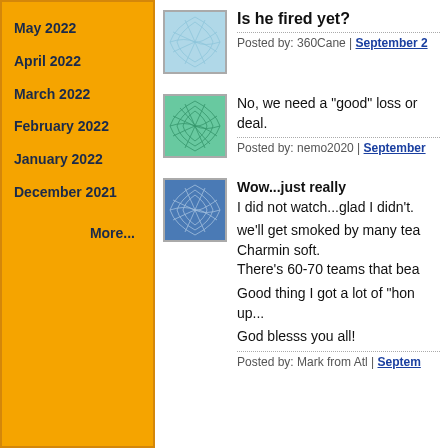May 2022
April 2022
March 2022
February 2022
January 2022
December 2021
More...
Is he fired yet?
Posted by: 360Cane | September 2
No, we need a "good" loss or deal.
Posted by: nemo2020 | September
Wow...just really
I did not watch...glad I didn't.

we'll get smoked by many tea Charmin soft.
There's 60-70 teams that bea

Good thing I got a lot of "hon up...

God blesss you all!

Posted by: Mark from Atl | Septem